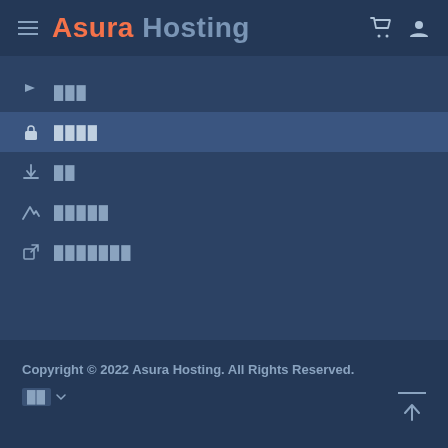Asura Hosting
███
████
██
█████
███████
Copyright © 2022 Asura Hosting. All Rights Reserved.